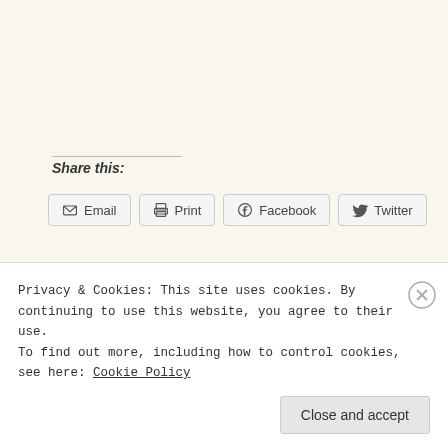Share this:
Email  Print  Facebook  Twitter
Loading…
emmabolden   March 3, 2013
2013 is the year of Awesome: A festival of links...
Privacy & Cookies: This site uses cookies. By continuing to use this website, you agree to their use. To find out more, including how to control cookies, see here: Cookie Policy
Close and accept